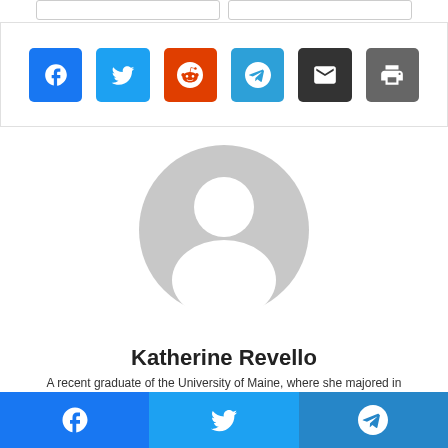[Figure (infographic): Share buttons row: Facebook (blue), Twitter (light blue), Reddit (orange-red), Telegram (blue), Email (dark), Print (gray)]
[Figure (illustration): Generic user avatar: gray circle with white silhouette of person head and shoulders]
Katherine Revello
A recent graduate of the University of Maine, where she majored in journalism and political science, Katherine Revello is an aspiring political commentator. Her focuses include theory, the philosophy of money and populism. Currently, she is a graduate student at Villanova University. She is the founder of The Politics of Discretion, a blog dedicated to advancing her philosophy of discretionism. Follow her on Twitter:
[Figure (infographic): Footer bar with three share buttons: Facebook (blue), Twitter (light blue), Telegram (blue)]